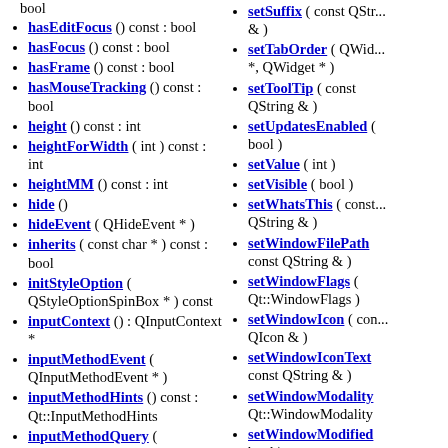bool
hasEditFocus () const : bool
hasFocus () const : bool
hasFrame () const : bool
hasMouseTracking () const : bool
height () const : int
heightForWidth ( int ) const : int
heightMM () const : int
hide ()
hideEvent ( QHideEvent * )
inherits ( const char * ) const : bool
initStyleOption ( QStyleOptionSpinBox * ) const
inputContext () : QInputContext *
inputMethodEvent ( QInputMethodEvent * )
inputMethodHints () const : Qt::InputMethodHints
inputMethodQuery ( Qt::InputMethodQuery ) const : QVariant
setSuffix ( const QString & )
setTabOrder ( QWidget *, QWidget * )
setToolTip ( const QString & )
setUpdatesEnabled ( bool )
setValue ( int )
setVisible ( bool )
setWhatsThis ( const QString & )
setWindowFilePath ( const QString & )
setWindowFlags ( Qt::WindowFlags )
setWindowIcon ( const QIcon & )
setWindowIconText ( const QString & )
setWindowModality ( Qt::WindowModality )
setWindowModified ( bool )
setWindowOpacity (